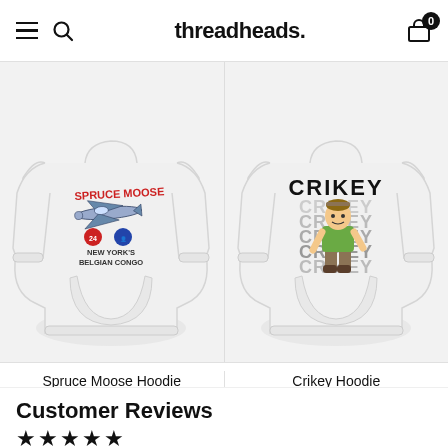threadheads.
[Figure (photo): White Spruce Moose hoodie with red and blue airplane graphic and text 'Spruce Moose, New York's Belgian Congo']
[Figure (photo): White Crikey hoodie with cartoon character and repeated 'CRIKEY' text in bold letters]
Spruce Moose Hoodie
$59.00
Crikey Hoodie
$59.00
Customer Reviews
★★★★★